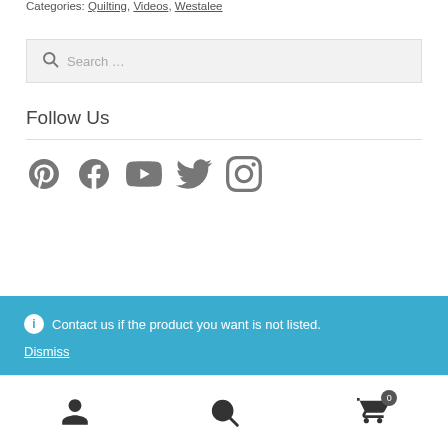Categories: Quilting, Videos, Westalee
Search …
Follow Us
[Figure (illustration): Row of social media icons: Pinterest, Facebook, YouTube, Twitter, Instagram]
Contact us if the product you want is not listed. Dismiss
[Figure (illustration): Bottom navigation bar with user account, search, and cart (0) icons]